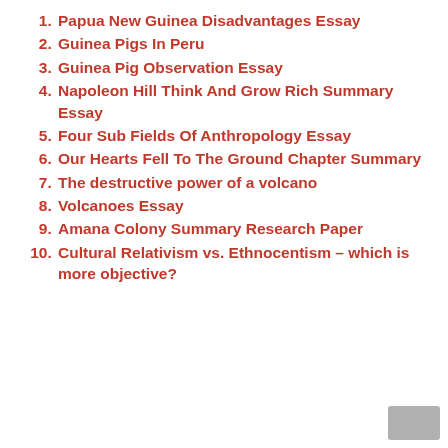Papua New Guinea Disadvantages Essay
Guinea Pigs In Peru
Guinea Pig Observation Essay
Napoleon Hill Think And Grow Rich Summary Essay
Four Sub Fields Of Anthropology Essay
Our Hearts Fell To The Ground Chapter Summary
The destructive power of a volcano
Volcanoes Essay
Amana Colony Summary Research Paper
Cultural Relativism vs. Ethnocentism – which is more objective?